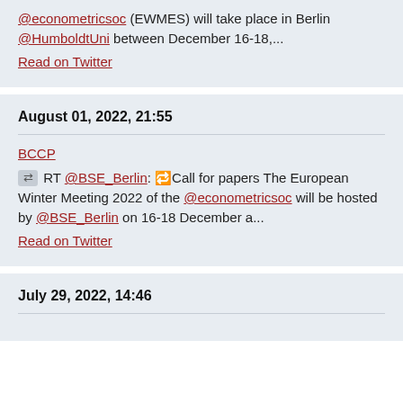@econometricsoc (EWMES) will take place in Berlin @HumboldtUni between December 16-18,... Read on Twitter
August 01, 2022, 21:55
BCCP
RT @BSE_Berlin: 🔁Call for papers The European Winter Meeting 2022 of the @econometricsoc will be hosted by @BSE_Berlin on 16-18 December a... Read on Twitter
July 29, 2022, 14:46